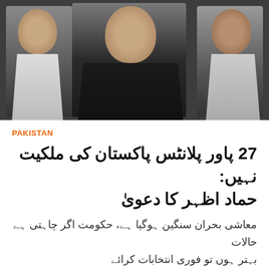[Figure (photo): Three men at a press conference, center man speaking, wearing a dark jacket, flanked by two others in formal attire]
PAKISTAN
27 پاور پلانٹس پاکستان کی ملکیت نہیں: حماد اظہر کا دعویٰ
معاشی بحران سنگین ہوگیا ہے، حکومت اگر چاہتی ہے حالات بہتر ہوں تو فوری انتخابات کرائے
Published 07 Jun, 2022 06:26pm